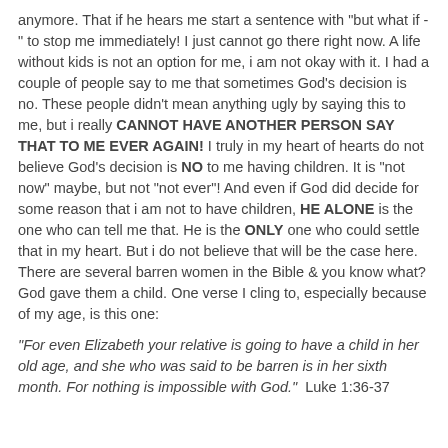anymore. That if he hears me start a sentence with "but what if - " to stop me immediately! I just cannot go there right now. A life without kids is not an option for me, i am not okay with it. I had a couple of people say to me that sometimes God's decision is no. These people didn't mean anything ugly by saying this to me, but i really CANNOT HAVE ANOTHER PERSON SAY THAT TO ME EVER AGAIN! I truly in my heart of hearts do not believe God's decision is NO to me having children. It is "not now" maybe, but not "not ever"! And even if God did decide for some reason that i am not to have children, HE ALONE is the one who can tell me that. He is the ONLY one who could settle that in my heart. But i do not believe that will be the case here. There are several barren women in the Bible & you know what? God gave them a child. One verse I cling to, especially because of my age, is this one:
"For even Elizabeth your relative is going to have a child in her old age, and she who was said to be barren is in her sixth month. For nothing is impossible with God."  Luke 1:36-37